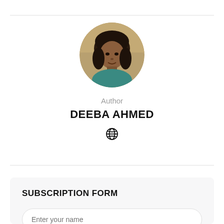[Figure (photo): Circular profile photo of a woman with short dark hair, wearing a teal/blue top, with a warm-toned background.]
Author
DEEBA AHMED
[Figure (other): Globe/website icon symbol]
SUBSCRIPTION FORM
Enter your name